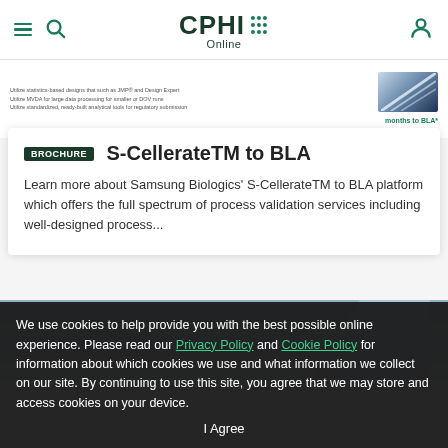CPHI Online
[Figure (screenshot): Partially visible brochure document with small text and a diagonal striped graphic element, with text mentioning 'months to BLA']
BROCHURE  S-CellerateTM to BLA
Learn more about Samsung Biologics' S-CellerateTM to BLA platform which offers the full spectrum of process validation services including well-designed process...
[Figure (photo): Partial view of a modern building exterior with glass facade against a light blue sky]
We use cookies to help provide you with the best possible online experience. Please read our Privacy Policy and Cookie Policy for information about which cookies we use and what information we collect on our site. By continuing to use this site, you agree that we may store and access cookies on your device.
I Agree